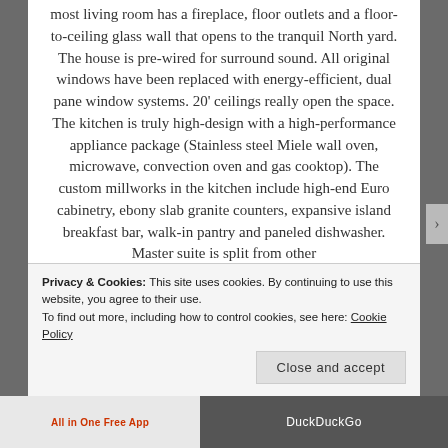most living room has a fireplace, floor outlets and a floor-to-ceiling glass wall that opens to the tranquil North yard. The house is pre-wired for surround sound. All original windows have been replaced with energy-efficient, dual pane window systems. 20' ceilings really open the space. The kitchen is truly high-design with a high-performance appliance package (Stainless steel Miele wall oven, microwave, convection oven and gas cooktop). The custom millworks in the kitchen include high-end Euro cabinetry, ebony slab granite counters, expansive island breakfast bar, walk-in pantry and paneled dishwasher. Master suite is split from other
Privacy & Cookies: This site uses cookies. By continuing to use this website, you agree to their use.
To find out more, including how to control cookies, see here: Cookie Policy
Close and accept
All in One Free App | DuckDuckGo